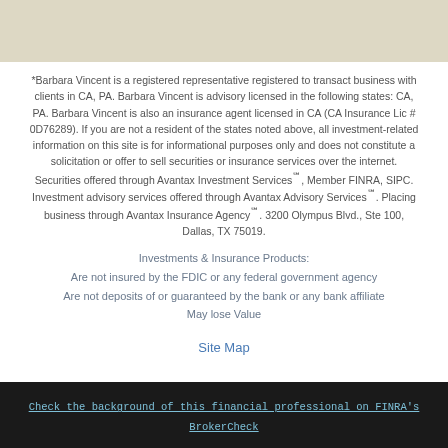*Barbara Vincent is a registered representative registered to transact business with clients in CA, PA. Barbara Vincent is advisory licensed in the following states: CA, PA. Barbara Vincent is also an insurance agent licensed in CA (CA Insurance Lic # 0D76289). If you are not a resident of the states noted above, all investment-related information on this site is for informational purposes only and does not constitute a solicitation or offer to sell securities or insurance services over the internet. Securities offered through Avantax Investment Services℠, Member FINRA, SIPC. Investment advisory services offered through Avantax Advisory Services℠. Placing business through Avantax Insurance Agency℠. 3200 Olympus Blvd., Ste 100, Dallas, TX 75019.
Investments & Insurance Products:
Are not insured by the FDIC or any federal government agency
Are not deposits of or guaranteed by the bank or any bank affiliate
May lose Value
Site Map
Check the background of this financial professional on FINRA's BrokerCheck